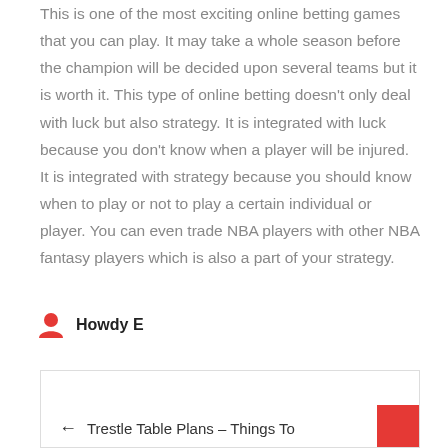This is one of the most exciting online betting games that you can play. It may take a whole season before the champion will be decided upon several teams but it is worth it. This type of online betting doesn't only deal with luck but also strategy. It is integrated with luck because you don't know when a player will be injured. It is integrated with strategy because you should know when to play or not to play a certain individual or player. You can even trade NBA players with other NBA fantasy players which is also a part of your strategy.
Howdy E
← Trestle Table Plans – Things To